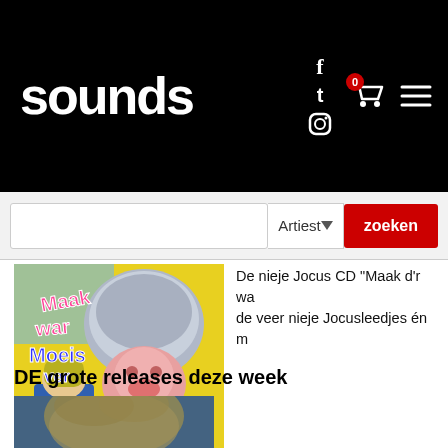sounds
De nieje Jocus CD "Maak d'r wa de veer nieje Jocusleedjes én m
[Figure (illustration): Colorful illustrated CD cover with cartoon characters in circus/jester style, text reads 'Maak war Moeis ver' on yellow background]
DE grote releases deze week
[Figure (photo): Partial photo of person with blonde hair against dark blue background]